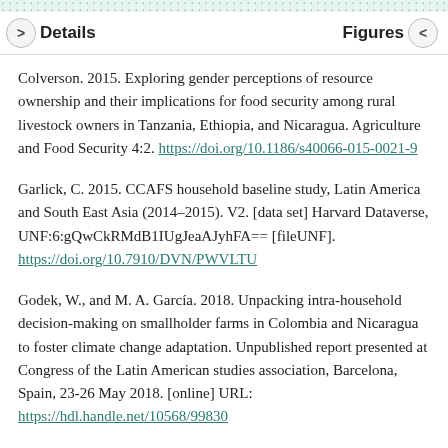Details | Figures
Colverson. 2015. Exploring gender perceptions of resource ownership and their implications for food security among rural livestock owners in Tanzania, Ethiopia, and Nicaragua. Agriculture and Food Security 4:2. https://doi.org/10.1186/s40066-015-0021-9
Garlick, C. 2015. CCAFS household baseline study, Latin America and South East Asia (2014–2015). V2. [data set] Harvard Dataverse, UNF:6:gQwCkRMdB1IUgJeaAJyhFA== [fileUNF]. https://doi.org/10.7910/DVN/PWVLTU
Godek, W., and M. A. García. 2018. Unpacking intra-household decision-making on smallholder farms in Colombia and Nicaragua to foster climate change adaptation. Unpublished report presented at Congress of the Latin American studies association, Barcelona, Spain, 23-26 May 2018. [online] URL: https://hdl.handle.net/10568/99830